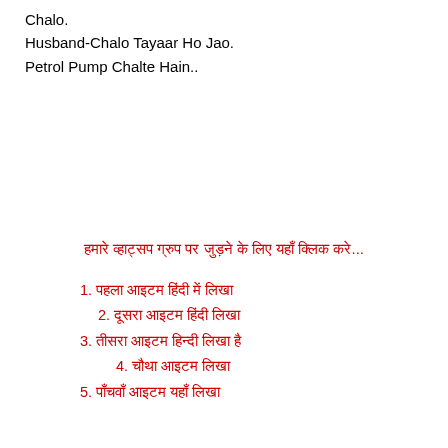Chalo.
Husband-Chalo Tayaar Ho Jao.
Petrol Pump Chalte Hain..
हमारे व्हाट्सप ग्रुप पर जुड़ने के लिए यहाँ क्लिक करे...
1. पहला आइटम हिंदी में लिखा
2. दूसरा आइटम हिंदी लिखा
3. तीसरा आइटम हिन्दी लिखा है
4. चौथा आइटम लिखा
5. पाँचवाँ आइटम यहाँ लिखा